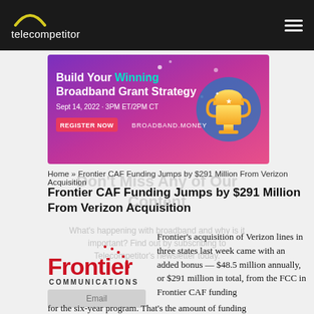telecompetitor
[Figure (illustration): Advertisement banner: 'Build Your Winning Broadband Grant Strategy, Sept 14, 2022 · 3PM ET/2PM CT, REGISTER NOW, BROADBAND.MONEY' with a trophy graphic on purple/pink gradient background]
Don't Miss Any of Our Content
What's happening with broadband and why is it important? Find out by subscribing to Telecompetitor's newsletter today.
Home » Frontier CAF Funding Jumps by $291 Million From Verizon Acquisition
Frontier CAF Funding Jumps by $291 Million From Verizon Acquisition
[Figure (logo): Frontier Communications logo in red text]
Frontier's acquisition of Verizon lines in three states last week came with an added bonus — $48.5 million annually, or $291 million in total, from the FCC in Frontier CAF funding for the six-year program. That's the amount of funding